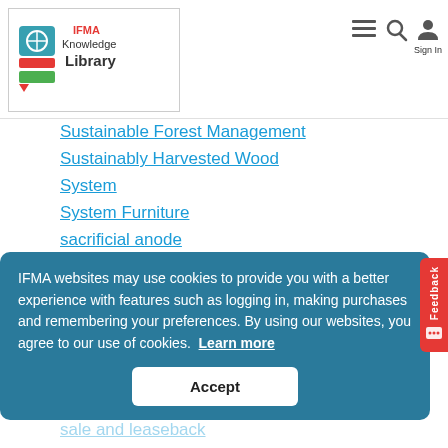IFMA Knowledge Library
Sustainable Forest Management
Sustainably Harvested Wood
System
System Furniture
sacrificial anode
saddle
safety committee
safety control
safety of principal
safety thermostat
sagging
sale and leaseback
sale price
sale-leaseback
sally port
IFMA websites may use cookies to provide you with a better experience with features such as logging in, making purchases and remembering your preferences. By using our websites, you agree to our use of cookies. Learn more
Accept